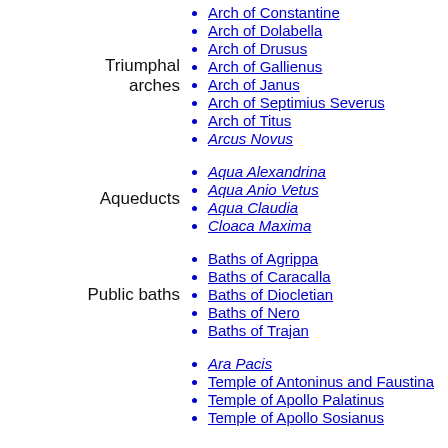Triumphal arches
Arch of Constantine
Arch of Dolabella
Arch of Drusus
Arch of Gallienus
Arch of Janus
Arch of Septimius Severus
Arch of Titus
Arcus Novus
Aqueducts
Aqua Alexandrina
Aqua Anio Vetus
Aqua Claudia
Cloaca Maxima
Public baths
Baths of Agrippa
Baths of Caracalla
Baths of Diocletian
Baths of Nero
Baths of Trajan
Ara Pacis
Temple of Antoninus and Faustina
Temple of Apollo Palatinus
Temple of Apollo Sosianus